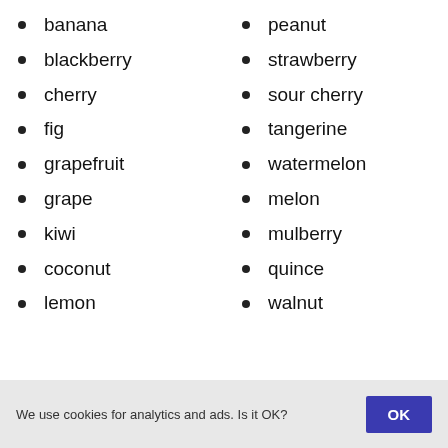banana
blackberry
cherry
fig
grapefruit
grape
kiwi
coconut
lemon
peanut
strawberry
sour cherry
tangerine
watermelon
melon
mulberry
quince
walnut
We use cookies for analytics and ads. Is it OK?